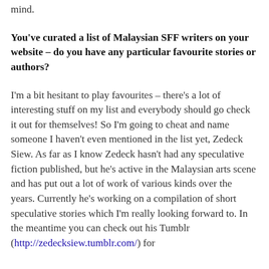mind.
You've curated a list of Malaysian SFF writers on your website – do you have any particular favourite stories or authors?
I'm a bit hesitant to play favourites – there's a lot of interesting stuff on my list and everybody should go check it out for themselves! So I'm going to cheat and name someone I haven't even mentioned in the list yet, Zedeck Siew. As far as I know Zedeck hasn't had any speculative fiction published, but he's active in the Malaysian arts scene and has put out a lot of work of various kinds over the years. Currently he's working on a compilation of short speculative stories which I'm really looking forward to. In the meantime you can check out his Tumblr (http://zedecksiew.tumblr.com/) for